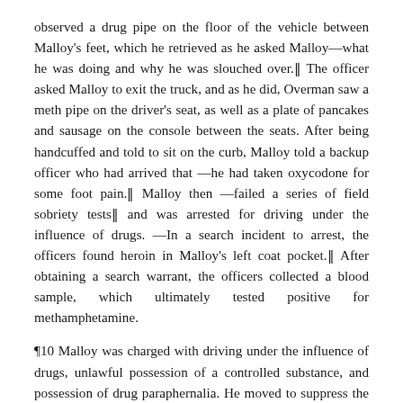observed a drug pipe on the floor of the vehicle between Malloy's feet, which he retrieved as he asked Malloy—what he was doing and why he was slouched over.¶ The officer asked Malloy to exit the truck, and as he did, Overman saw a meth pipe on the driver's seat, as well as a plate of pancakes and sausage on the console between the seats. After being handcuffed and told to sit on the curb, Malloy told a backup officer who had arrived that —he had taken oxycodone for some foot pain.¶ Malloy then —failed a series of field sobriety tests¶ and was arrested for driving under the influence of drugs. —In a search incident to arrest, the officers found heroin in Malloy's left coat pocket.¶ After obtaining a search warrant, the officers collected a blood sample, which ultimately tested positive for methamphetamine.
¶10 Malloy was charged with driving under the influence of drugs, unlawful possession of a controlled substance, and possession of drug paraphernalia. He moved to suppress the evidence, asserting that Overman had —conducted an unlawful search when he opened the truck door without first knocking on the window to see if Malloy